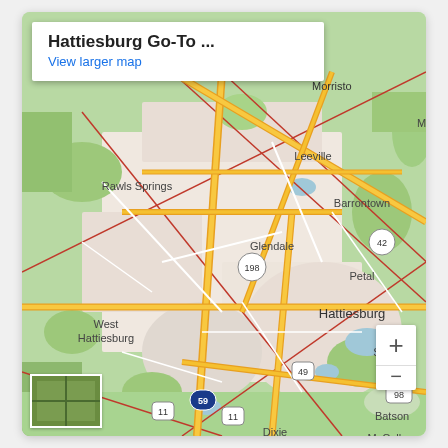[Figure (map): Google Maps screenshot showing Hattiesburg, Mississippi area. Map shows road network with major highways including I-59, US-49, US-98, US-11, and Route 198 and 42. Surrounding areas labeled include West Hattiesburg, Glendale, Petal, Rawls Springs, Leeville, Barrontown, Sunrise, Batson, McCallum, Dixie, and Morristo. Roads shown in yellow/orange on green and light tan background. Red diagonal lines cross the map. Blue water features visible near Hattiesburg and Sunrise.]
Hattiesburg Go-To ...
View larger map